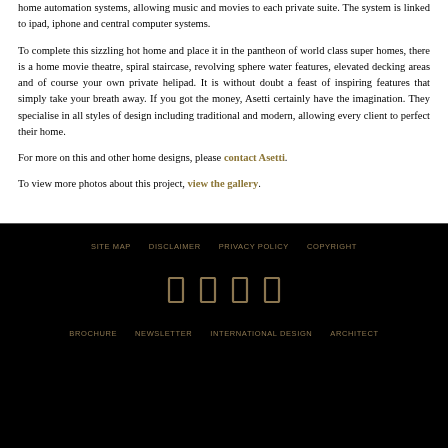home automation systems, allowing music and movies to each private suite. The system is linked to ipad, iphone and central computer systems.
To complete this sizzling hot home and place it in the pantheon of world class super homes, there is a home movie theatre, spiral staircase, revolving sphere water features, elevated decking areas and of course your own private helipad. It is without doubt a feast of inspiring features that simply take your breath away. If you got the money, Asetti certainly have the imagination. They specialise in all styles of design including traditional and modern, allowing every client to perfect their home.
For more on this and other home designs, please contact Asetti.
To view more photos about this project, view the gallery.
SITE MAP  DISCLAIMER  PRIVACY POLICY  COPYRIGHT
BROCHURE  NEWSLETTER  INTERNATIONAL DESIGN  ARCHITECT